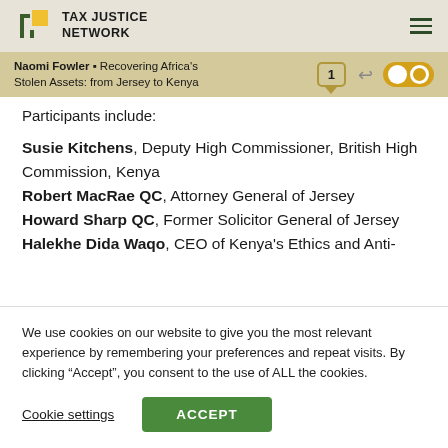TAX JUSTICE NETWORK
Naomi Fowler ▪ Recovering Africa's Stolen Assets: from Jersey to Kenya
Participants include:
Susie Kitchens, Deputy High Commissioner, British High Commission, Kenya
Robert MacRae QC, Attorney General of Jersey
Howard Sharp QC, Former Solicitor General of Jersey
Halekhe Dida Waqo, CEO of Kenya's Ethics and Anti-
We use cookies on our website to give you the most relevant experience by remembering your preferences and repeat visits. By clicking “Accept”, you consent to the use of ALL the cookies.
Cookie settings   ACCEPT